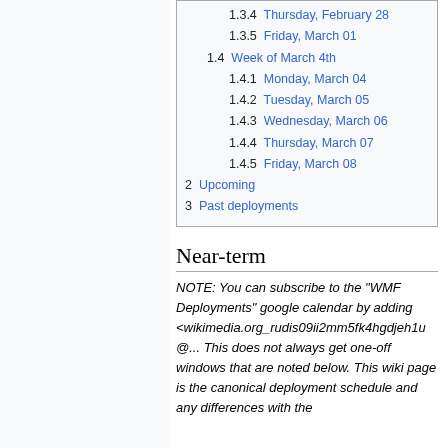1.3.4 Thursday, February 28
1.3.5 Friday, March 01
1.4 Week of March 4th
1.4.1 Monday, March 04
1.4.2 Tuesday, March 05
1.4.3 Wednesday, March 06
1.4.4 Thursday, March 07
1.4.5 Friday, March 08
2 Upcoming
3 Past deployments
Near-term
NOTE: You can subscribe to the "WMF Deployments" google calendar by adding <wikimedia.org_rudis09ii2mm5fk4hgdjeh1u@... This does not always get one-off windows that are noted below. This wiki page is the canonical deployment schedule and any differences with the